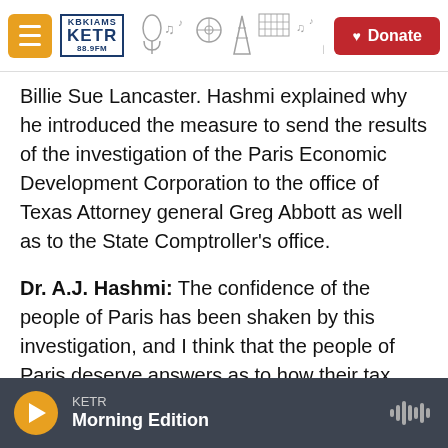KETR Radio navigation bar with hamburger menu, KETR logo, decorative illustrations, and Donate button
Billie Sue Lancaster. Hashmi explained why he introduced the measure to send the results of the investigation of the Paris Economic Development Corporation to the office of Texas Attorney general Greg Abbott as well as to the State Comptroller's office.
Dr. A.J. Hashmi: The confidence of the people of Paris has been shaken by this investigation, and I think that the people of Paris deserve answers as to how their tax payer dollars were used, what they were used for, and if they were used inappropriately, who is held responsible for that
KETR Morning Edition (audio player)